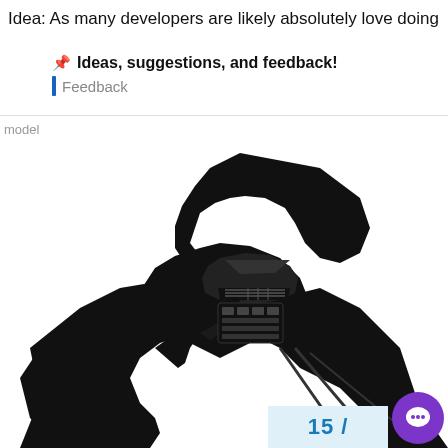Idea: As many developers are likely absolutely love doing
Ideas, suggestions, and feedback!
Feedback
model
[Figure (illustration): Black and white clipart illustration of Darth Vader from Star Wars pointing finger forward]
15 /